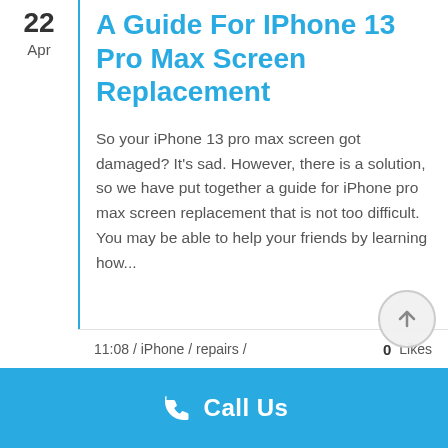A Guide For IPhone 13 Pro Max Screen Replacement
So your iPhone 13 pro max screen got damaged? It's sad. However, there is a solution, so we have put together a guide for iPhone pro max screen replacement that is not too difficult. You may be able to help your friends by learning how...
11:08 / iPhone / repairs /   Likes